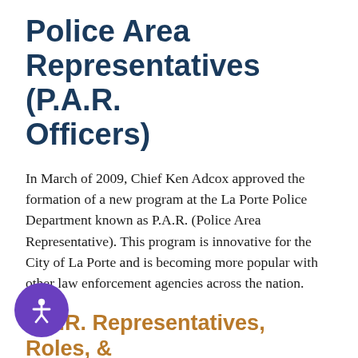Police Area Representatives (P.A.R. Officers)
In March of 2009, Chief Ken Adcox approved the formation of a new program at the La Porte Police Department known as P.A.R. (Police Area Representative). This program is innovative for the City of La Porte and is becoming more popular with other law enforcement agencies across the nation.
P.A.R. Representatives, Roles, & Zones
The City of La Porte is divided into 3 distinct representative zones. Zone 1 is primarily the east side of the city. Zone 2 is the west side of